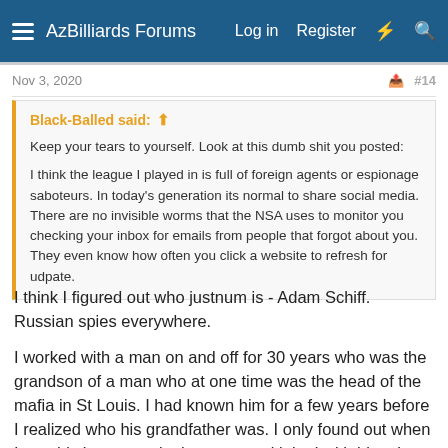AzBilliards Forums  Log in  Register
Nov 3, 2020   #14
Black-Balled said: ↑

Keep your tears to yourself. Look at this dumb shit you posted:

I think the league I played in is full of foreign agents or espionage saboteurs. In today's generation its normal to share social media. There are no invisible worms that the NSA uses to monitor you checking your inbox for emails from people that forgot about you. They even know how often you click a website to refresh for udpate.
I think I figured out who justnum is - Adam Schiff. Russian spies everywhere.
I worked with a man on and off for 30 years who was the grandson of a man who at one time was the head of the mafia in St Louis. I had known him for a few years before I realized who his grandfather was. I only found out when I saw his last name in the news and joked with him about being connected and then he told me. He was a great guy – not a mean bone in his body.